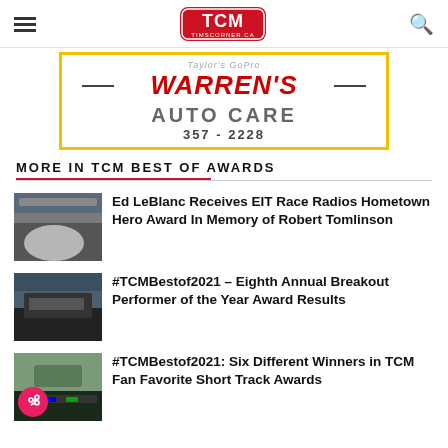TCM TimsCorner.ca
[Figure (logo): Warren's Auto Care advertisement banner: red italic WARREN'S text, wrench icons, AUTO CARE in gray, phone 357-2228, yellow border]
MORE IN TCM BEST OF AWARDS
[Figure (photo): Racing car on track with smoke/burnout]
Ed LeBlanc Receives EIT Race Radios Hometown Hero Award In Memory of Robert Tomlinson
[Figure (photo): Crashed or stacked race cars at track]
#TCMBestof2021 – Eighth Annual Breakout Performer of the Year Award Results
[Figure (photo): Aerial view of short track with multiple racing cars]
#TCMBestof2021: Six Different Winners in TCM Fan Favorite Short Track Awards